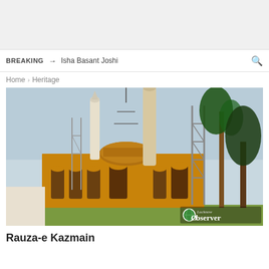BREAKING → Isha Basant Joshi
Home > Heritage
[Figure (photo): Photo of Rauza-e Kazmain mosque with minarets, dome, and trees visible. The mosque is a brownish-orange sandstone building with arched entrances. Scaffolding and communication towers are visible alongside a tall palm tree. A watermark reads 'Lucknow Observer' with a globe logo.]
Rauza-e Kazmain